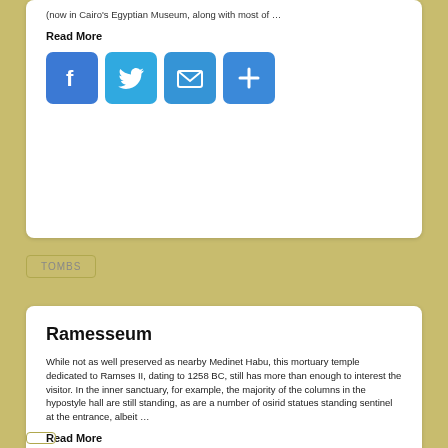(now in Cairo's Egyptian Museum, along with most of …
Read More
[Figure (infographic): Social sharing icons: Facebook, Twitter, Email, Plus]
TOMBS
Ramesseum
While not as well preserved as nearby Medinet Habu, this mortuary temple dedicated to Ramses II, dating to 1258 BC, still has more than enough to interest the visitor. In the inner sanctuary, for example, the majority of the columns in the hypostyle hall are still standing, as are a number of osirid statues standing sentinel at the entrance, albeit …
Read More
[Figure (infographic): Social sharing icons: Facebook, Twitter, Email, Plus]